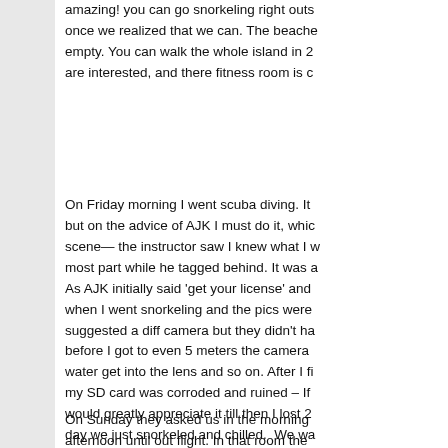amazing! you can go snorkeling right out... once we realized that we can. The beach... empty. You can walk the whole island in 2... are interested, and there fitness room is c...
On Friday morning I went scuba diving. It... but on the advice of AJK I must do it, whi... scene the instructor saw I knew what I w... most part while he tagged behind. It was a... As AJK initially said 'get your license' and... when I went snorkeling and the pics were... suggested a diff camera but they didn't ha... before I got to even 5 meters the camera... water get into the lens and so on. After I fi... my SD card was corroded and ruined – If... would greatly appreciate it till then I lost 2... day we just snorkeled and chilled.  We wa... being that it sets pretty quickly there, and... chef that I would like to eat fri night there,... room that is on the beach on the water. I g... instructions which was perfect.
On Sunday they asked us in the morning... afternoon until out flight. In that room the...